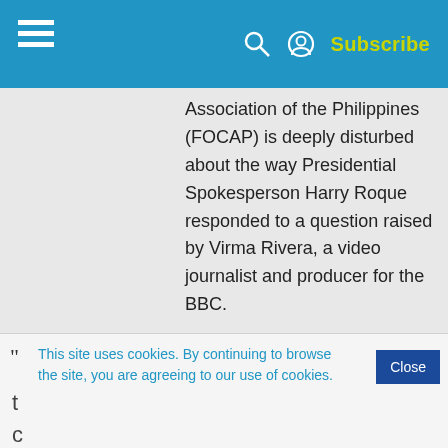Subscribe
Association of the Philippines (FOCAP) is deeply disturbed about the way Presidential Spokesperson Harry Roque responded to a question raised by Virma Rivera, a video journalist and producer for the BBC.
— FOCAP (@FOCAP2020) July 14, 2021
This site uses cookies. By continuing to browse the site, you are agreeing to our use of cookies.